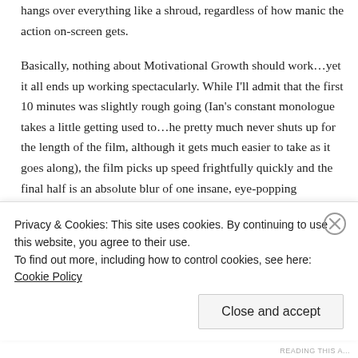hangs over everything like a shroud, regardless of how manic the action on-screen gets.
Basically, nothing about Motivational Growth should work…yet it all ends up working spectacularly. While I'll admit that the first 10 minutes was slightly rough going (Ian's constant monologue takes a little getting used to…he pretty much never shuts up for the length of the film, although it gets much easier to take as it goes along), the film picks up speed frightfully quickly and the final half is an absolute blur of one insane, eye-popping monstrosity after the other. Once all of the elements have a chance to mix together, Thacker's film becomes virtually unstoppable; it's no
Privacy & Cookies: This site uses cookies. By continuing to use this website, you agree to their use.
To find out more, including how to control cookies, see here: Cookie Policy
Close and accept
READING THIS A...